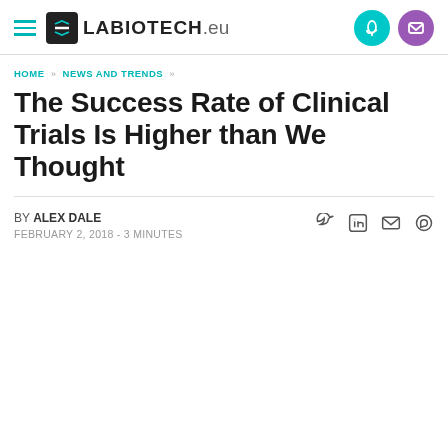LABIOTECH.eu
HOME » NEWS AND TRENDS »
The Success Rate of Clinical Trials Is Higher than We Thought
BY ALEX DALE
FEBRUARY 2, 2018 - 3 MINUTES